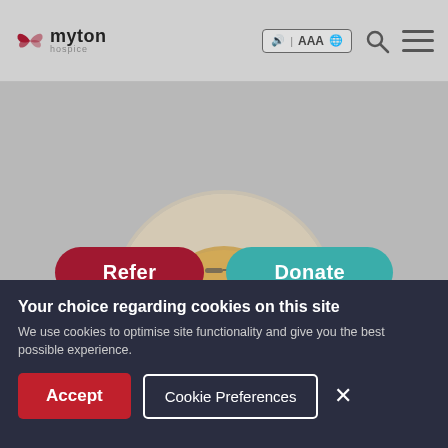[Figure (screenshot): Myton Hospice website header with logo (butterfly icon + 'myton hospice' text), accessibility toolbar showing speaker, AAA text size, and globe icons, plus search and hamburger menu icons on a grey background.]
[Figure (screenshot): Two CTA buttons: 'Refer' (dark red/crimson, rounded) and 'Donate' (teal/green, rounded) on grey background.]
[Figure (photo): Circular cropped photo of a smiling middle-aged blonde woman wearing a floral top, glasses on head, with a partial 'n ice' logo badge visible to her left. Background is grey.]
Your choice regarding cookies on this site
We use cookies to optimise site functionality and give you the best possible experience.
Accept
Cookie Preferences